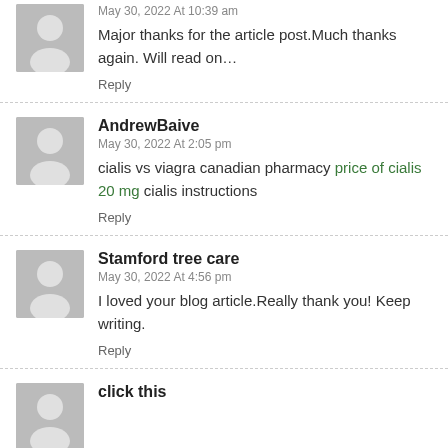May 30, 2022 At 10:39 am
Major thanks for the article post.Much thanks again. Will read on…
Reply
AndrewBaive
May 30, 2022 At 2:05 pm
cialis vs viagra canadian pharmacy price of cialis 20 mg cialis instructions
Reply
Stamford tree care
May 30, 2022 At 4:56 pm
I loved your blog article.Really thank you! Keep writing.
Reply
click this